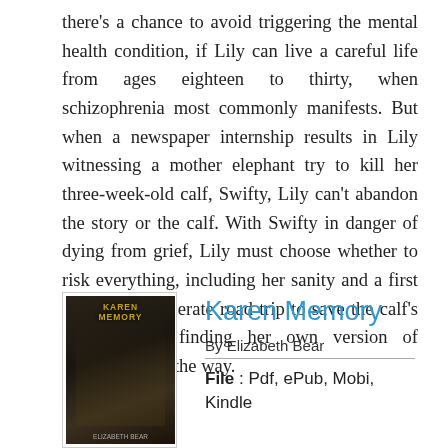there's a chance to avoid triggering the mental health condition, if Lily can live a careful life from ages eighteen to thirty, when schizophrenia most commonly manifests. But when a newspaper internship results in Lily witnessing a mother elephant try to kill her three-week-old calf, Swifty, Lily can't abandon the story or the calf. With Swifty in danger of dying from grief, Lily must choose whether to risk everything, including her sanity and a first love, on a desperate road trip to save the calf's life, perhaps finding her own version of freedom along the way.
[Figure (illustration): Book cover thumbnail for 'Karen Memory' by Elizabeth Bear, dark toned cover with figure and title text]
Karen Memory
By Elizabeth Bear
File : Pdf, ePub, Mobi, Kindle